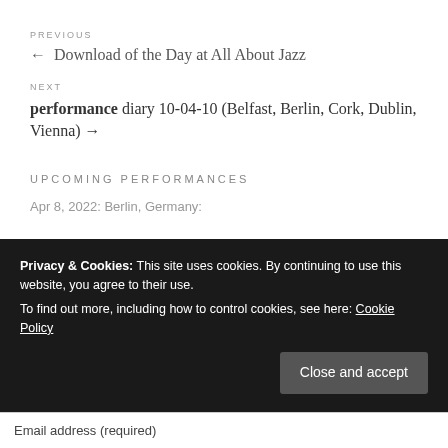PREVIOUS
← Download of the Day at All About Jazz
NEXT
performance diary 10-04-10 (Belfast, Berlin, Cork, Dublin, Vienna) →
UPCOMING PERFORMANCES
Apr 8, 2022: Berlin, Germany:
Privacy & Cookies: This site uses cookies. By continuing to use this website, you agree to their use. To find out more, including how to control cookies, see here: Cookie Policy
Close and accept
Email address (required)